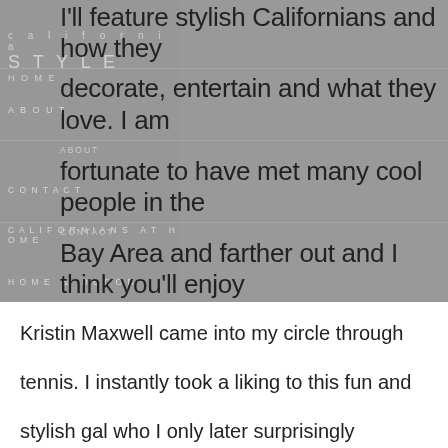[Figure (screenshot): Screenshot of a blog website called 'california STYLE HOME' showing navigation menu overlay with links: HOME, ABOUT, CONTACT, CALIFORNIANS AT HOME, HOME & DECOR, CLOSET, overlaid on grey background with large text content visible]
I'll feature stylish Californians and how they decorate, entertain and what they love. I am fortunate to have met many cool people in the Bay Area and farther out and I think you'll enjoy seeing the inspiring way they live here in the Golden State!
Kristin Maxwell came into my circle through tennis. I instantly took a liking to this fun and stylish gal who I only later surprisingly discovered